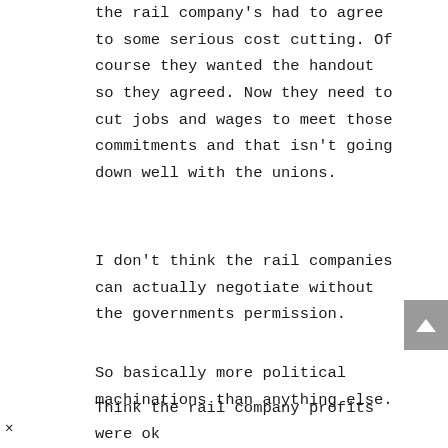the rail company's had to agree to some serious cost cutting. Of course they wanted the handout so they agreed. Now they need to cut jobs and wages to meet those commitments and that isn't going down well with the unions.
I don't think the rail companies can actually negotiate without the governments permission.
So basically more political machinations than anything else.
Think the rail company profits were ok